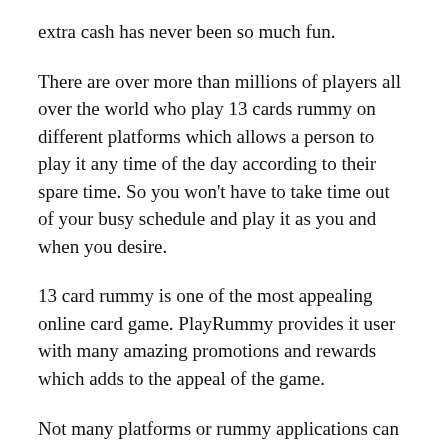extra cash has never been so much fun.
There are over more than millions of players all over the world who play 13 cards rummy on different platforms which allows a person to play it any time of the day according to their spare time. So you won't have to take time out of your busy schedule and play it as you and when you desire.
13 card rummy is one of the most appealing online card game. PlayRummy provides it user with many amazing promotions and rewards which adds to the appeal of the game.
Not many platforms or rummy applications can provide or offer their users with the best of entertaining